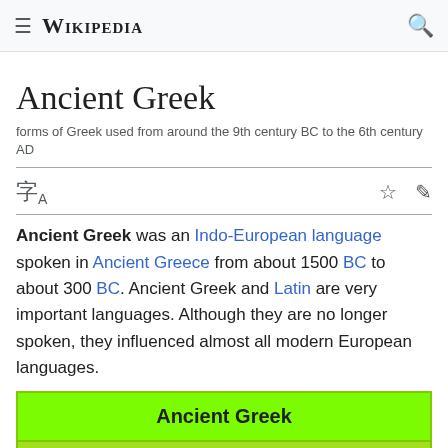≡ WIKIPEDIA 🔍
Ancient Greek
forms of Greek used from around the 9th century BC to the 6th century AD
Ancient Greek was an Indo-European language spoken in Ancient Greece from about 1500 BC to about 300 BC. Ancient Greek and Latin are very important languages. Although they are no longer spoken, they influenced almost all modern European languages.
| Ancient Greek |
| Ἑλληνική |